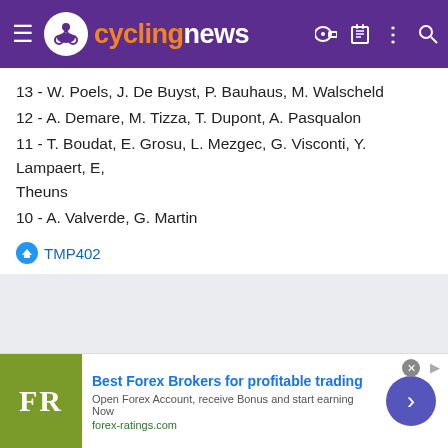cyclingnews
13 - W. Poels, J. De Buyst, P. Bauhaus, M. Walscheld
12 - A. Demare, M. Tizza, T. Dupont, A. Pasqualon
11 - T. Boudat, E. Grosu, L. Mezgec, G. Visconti, Y. Lampaert, E, Theuns
10 - A. Valverde, G. Martin
TMP402
[Figure (other): Advertisement banner for Forex Ratings: Best Forex Brokers for profitable trading. Open Forex Account, receive Bonus and start earning Now. forex-ratings.com]